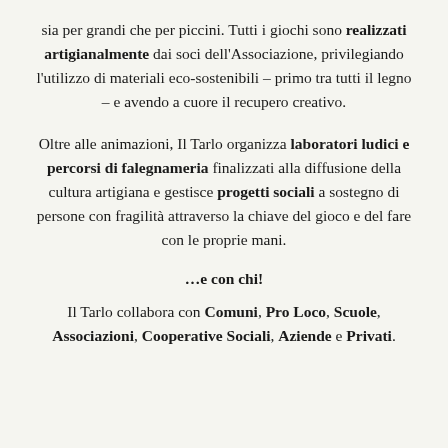sia per grandi che per piccini. Tutti i giochi sono realizzati artigianalmente dai soci dell'Associazione, privilegiando l'utilizzo di materiali eco-sostenibili – primo tra tutti il legno – e avendo a cuore il recupero creativo.
Oltre alle animazioni, Il Tarlo organizza laboratori ludici e percorsi di falegnameria finalizzati alla diffusione della cultura artigiana e gestisce progetti sociali a sostegno di persone con fragilità attraverso la chiave del gioco e del fare con le proprie mani.
…e con chi!
Il Tarlo collabora con Comuni, Pro Loco, Scuole, Associazioni, Cooperative Sociali, Aziende e Privati.